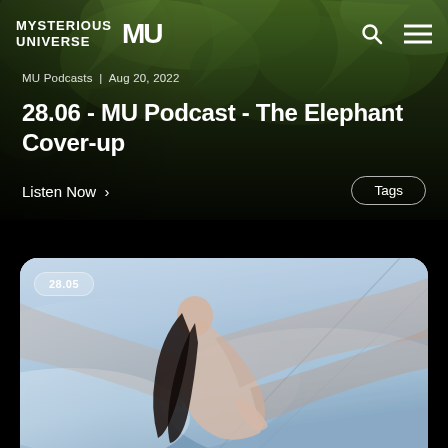MYSTERIOUS UNIVERSE MU
MU Podcasts | Aug 20, 2022
28.06 - MU Podcast - The Elephant Cover-up
Listen Now >
Tags
[Figure (photo): Episode 28.05 badge overlaid on photo of a woman in a sheer flowing dress arched backward in a misty, light blue atmospheric scene with dramatic hair and soft lighting]